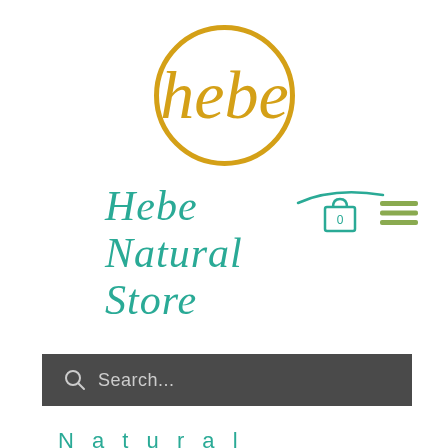[Figure (logo): Hebe Natural Store circular golden logo with stylized 'hebe' lettering inside a gold circle outline]
Hebe Natural Store
Search...
Natural sustainable product and